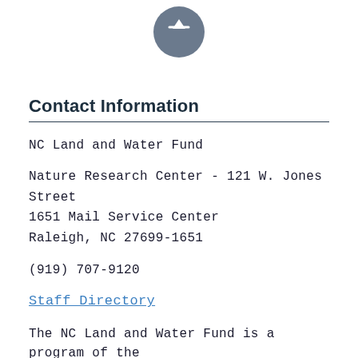[Figure (illustration): A dark grey circular icon with an upward arrow symbol (back-to-top button) centered at the top of the page]
Contact Information
NC Land and Water Fund
Nature Research Center - 121 W. Jones Street
1651 Mail Service Center
Raleigh, NC 27699-1651
(919) 707-9120
Staff Directory
The NC Land and Water Fund is a program of the